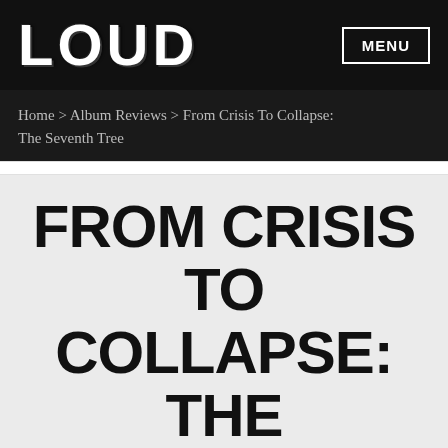LOUD | MENU
Home > Album Reviews > From Crisis To Collapse: The Seventh Tree
FROM CRISIS TO COLLAPSE: THE SEVENTH TREE
[Figure (photo): Partial view of album artwork or band photo showing tattooed imagery at bottom of page]